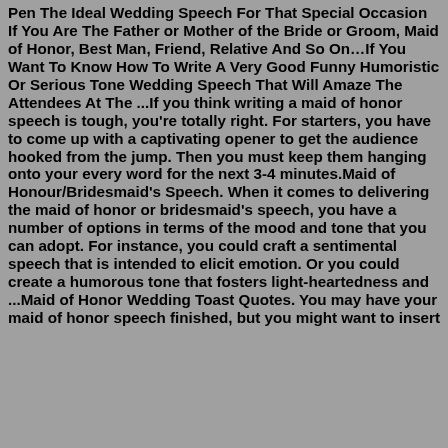Pen The Ideal Wedding Speech For That Special Occasion If You Are The Father or Mother of the Bride or Groom, Maid of Honor, Best Man, Friend, Relative And So On…If You Want To Know How To Write A Very Good Funny Humoristic Or Serious Tone Wedding Speech That Will Amaze The Attendees At The ...If you think writing a maid of honor speech is tough, you're totally right. For starters, you have to come up with a captivating opener to get the audience hooked from the jump. Then you must keep them hanging onto your every word for the next 3-4 minutes.Maid of Honour/Bridesmaid's Speech. When it comes to delivering the maid of honor or bridesmaid's speech, you have a number of options in terms of the mood and tone that you can adopt. For instance, you could craft a sentimental speech that is intended to elicit emotion. Or you could create a humorous tone that fosters light-heartedness and ...Maid of Honor Wedding Toast Quotes. You may have your maid of honor speech finished, but you might want to insert